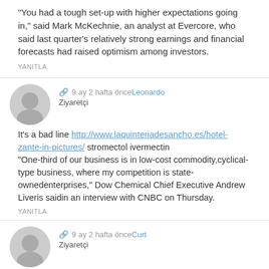“You had a tough set-up with higher expectations going in,” said Mark McKechnie, an analyst at Evercore, who said last quarter’s relatively strong earnings and financial forecasts had raised optimism among investors.
YANITLA
9 ay 2 hafta önceLeonardo
Ziyaretçi
It’s a bad line http://www.laquinteriadesancho.es/hotel-zante-in-pictures/ stromectol ivermectin
“One-third of our business is in low-cost commodity,cyclical-type business, where my competition is state-ownedenterprises,” Dow Chemical Chief Executive Andrew Liveris saidin an interview with CNBC on Thursday.
YANITLA
9 ay 2 hafta önceCurt
Ziyaretçi